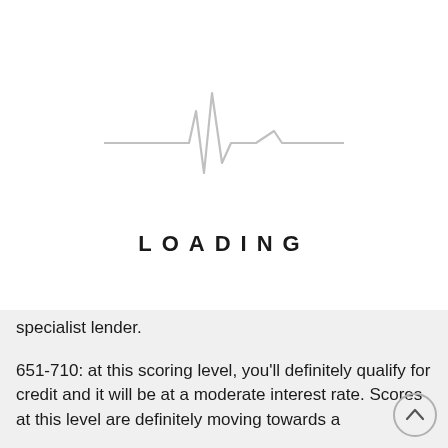[Figure (illustration): Grey heartbeat/ECG line graphic used as a loading indicator]
LOADING
specialist lender.
651-710: at this scoring level, you'll definitely qualify for credit and it will be at a moderate interest rate. Scores at this level are definitely moving towards a